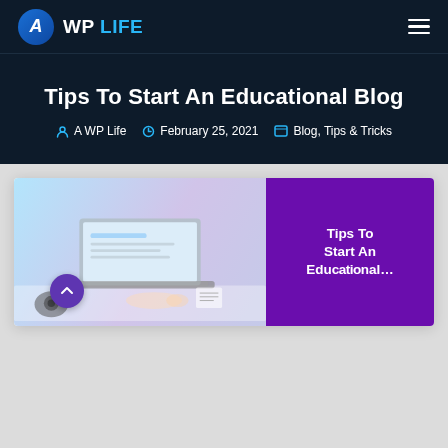A WP LIFE
Tips To Start An Educational Blog
A WP Life  |  February 25, 2021  |  Blog, Tips & Tricks
[Figure (screenshot): Blog post featured image split into two halves: left side shows a laptop on a desk with a light purple/blue gradient background; right side is dark purple with white bold text reading 'Tips To Start An Educational Blog'. A purple circle scroll-up button overlays the bottom-left of the image.]